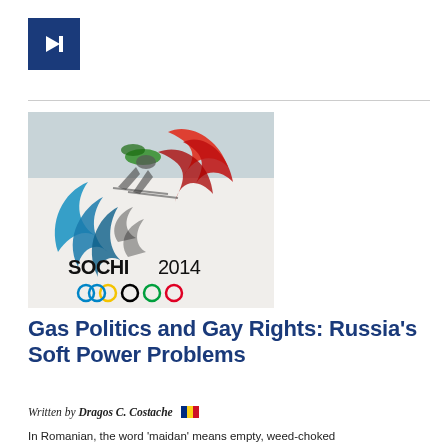[Figure (logo): Dark blue square with white right-pointing arrow icon]
[Figure (photo): Sochi 2014 Winter Olympics logo with skier in background. Shows the colorful flame/bird emblem, text 'SOCHI 2014', and Olympic rings at the bottom.]
Gas Politics and Gay Rights: Russia's Soft Power Problems
Written by Dragos C. Costache [Romanian flag]
In Romanian, the word 'maidan' means empty, weed-choked